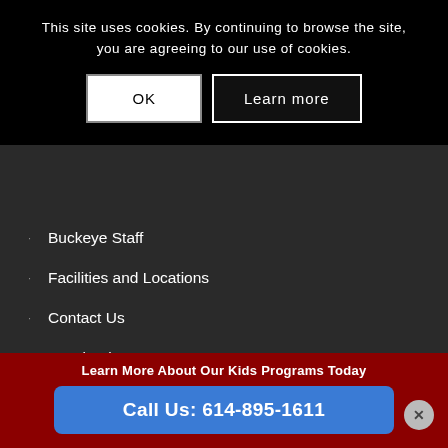This site uses cookies. By continuing to browse the site, you are agreeing to our use of cookies.
History
Our Mission
Buckeye Staff
Facilities and Locations
Contact Us
Facebook Posts
Instagram Posts
Buckeye Gymnastics Privacy Policy
Buckeye Gymnastics Safety and Wellness Policy
Learn More About Our Kids Programs Today
Call Us: 614-895-1611